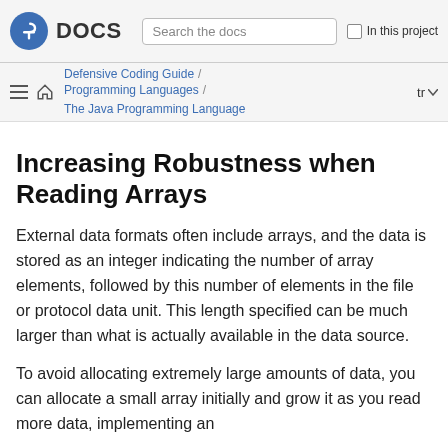DOCS  Search the docs  In this project
Defensive Coding Guide / Programming Languages / The Java Programming Language  tr
Increasing Robustness when Reading Arrays
External data formats often include arrays, and the data is stored as an integer indicating the number of array elements, followed by this number of elements in the file or protocol data unit. This length specified can be much larger than what is actually available in the data source.
To avoid allocating extremely large amounts of data, you can allocate a small array initially and grow it as you read more data, implementing an